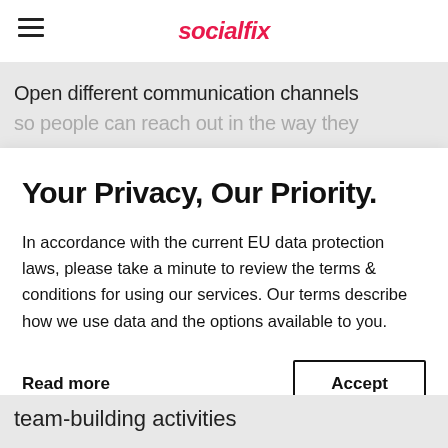socialfix
Open different communication channels so people can reach out in the way they
Your Privacy, Our Priority.
In accordance with the current EU data protection laws, please take a minute to review the terms & conditions for using our services. Our terms describe how we use data and the options available to you.
Read more    Accept
team-building activities